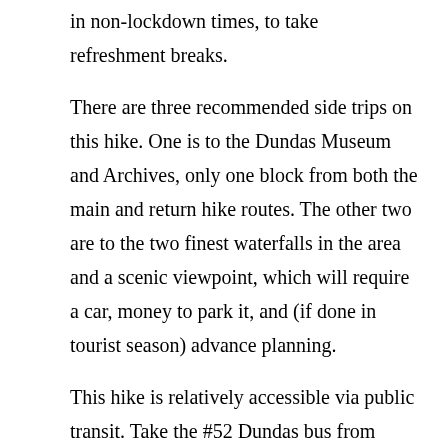in non-lockdown times, to take refreshment breaks.
There are three recommended side trips on this hike. One is to the Dundas Museum and Archives, only one block from both the main and return hike routes. The other two are to the two finest waterfalls in the area and a scenic viewpoint, which will require a car, money to park it, and (if done in tourist season) advance planning.
This hike is relatively accessible via public transit. Take the #52 Dundas bus from downtown Hamilton to its terminus at Governors Road and Pirie Drive and then walk north for 1.2 km along Newcombe Road to the start point. Your return bus stop will depend on where you finish: reasonably regular buses to downtown Hamilton run east along both King Street West and